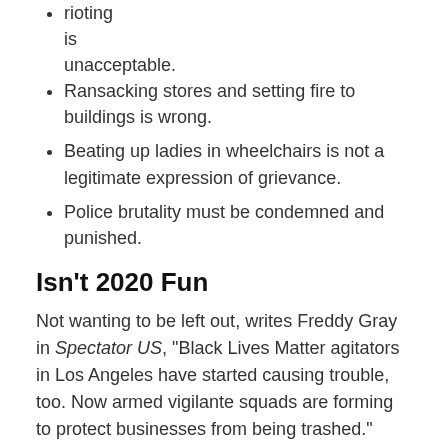rioting is unacceptable.
Ransacking stores and setting fire to buildings is wrong.
Beating up ladies in wheelchairs is not a legitimate expression of grievance.
Police brutality must be condemned and punished.
Isn't 2020 Fun
Not wanting to be left out, writes Freddy Gray in Spectator US, “Black Lives Matter agitators in Los Angeles have started causing trouble, too. Now armed vigilante squads are forming to protect businesses from being trashed.”
After lockdown, Social Breakdown
What triggered the riots? The shocking footage showing a police officer brutalizing an unarmed black man in